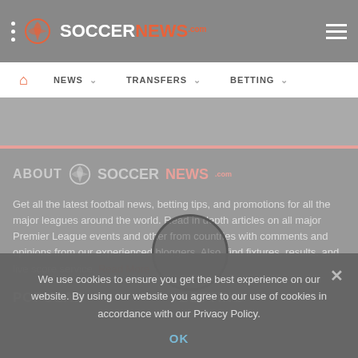SOCCERNEWS.com
NEWS  TRANSFERS  BETTING
ABOUT SOCCERNEWS.com
Get all the latest football news, betting tips, and promotions for all the major leagues around the world. Read in depth articles on all major Premier League events and other from countries with comments and opinions from our experienced bloggers. Also, find fixtures, results, and live score service. Read More
POPULAR   BETTING
We use cookies to ensure you get the best experience on our website. By using our website you agree to our use of cookies in accordance with our Privacy Policy.
OK